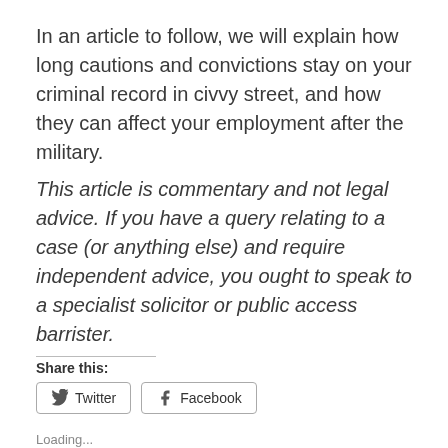In an article to follow, we will explain how long cautions and convictions stay on your criminal record in civvy street, and how they can affect your employment after the military.
This article is commentary and not legal advice. If you have a query relating to a case (or anything else) and require independent advice, you ought to speak to a specialist solicitor or public access barrister.
Share this:
Twitter  Facebook
Loading...